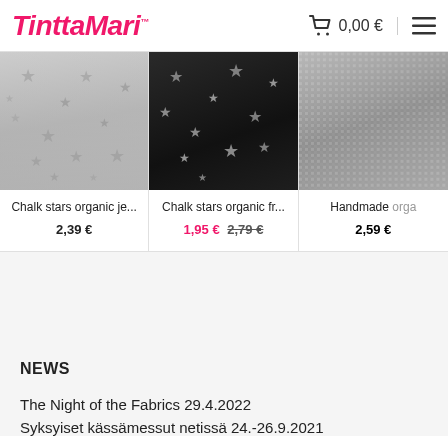TinttaMari™  0,00 €
[Figure (photo): White/grey fabric draped on a person, with chalk star pattern]
Chalk stars organic je...
2,39 €
[Figure (photo): Dark/black fabric with star pattern, bunched up]
Chalk stars organic fr...
1,95 € 2,79 €
[Figure (photo): Glittery/sparkly grey fabric, partially visible]
Handmade orga
2,59 €
NEWS
The Night of the Fabrics 29.4.2022
Syksyiset kässämessut netissä 24.-26.9.2021